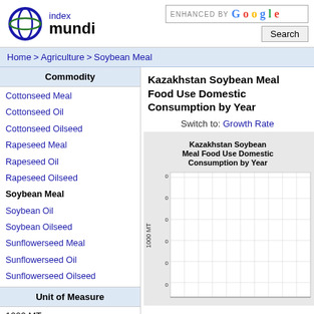[Figure (logo): Index Mundi logo — circular globe icon in blue/green with text 'index mundi']
ENHANCED BY Google [Search button]
Home > Agriculture > Soybean Meal
Commodity
Cottonseed Meal
Cottonseed Oil
Cottonseed Oilseed
Rapeseed Meal
Rapeseed Oil
Rapeseed Oilseed
Soybean Meal
Soybean Oil
Soybean Oilseed
Sunflowerseed Meal
Sunflowerseed Oil
Sunflowerseed Oilseed
Unit of Measure
1000 MT
Kazakhstan Soybean Meal Food Use Domestic Consumption by Year
Switch to: Growth Rate
[Figure (continuous-plot): Kazakhstan Soybean Meal Food Use Domestic Consumption by Year bar/line chart. Y-axis labeled '1000 MT'. Chart area shows grid lines with values near 0. X-axis shows years. Data values appear to be near zero or very small.]